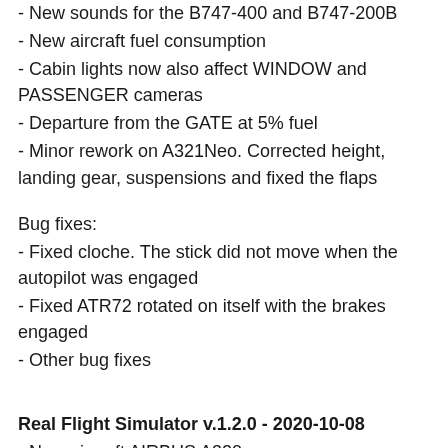- New sounds for the B747-400 and B747-200B
- New aircraft fuel consumption
- Cabin lights now also affect WINDOW and PASSENGER cameras
- Departure from the GATE at 5% fuel
- Minor rework on A321Neo. Corrected height, landing gear, suspensions and fixed the flaps
Bug fixes:
- Fixed cloche. The stick did not move when the autopilot was engaged
- Fixed ATR72 rotated on itself with the brakes engaged
- Other bug fixes
Real Flight Simulator v.1.2.0 - 2020-10-08
- New aircraft AIRBUS A320neo